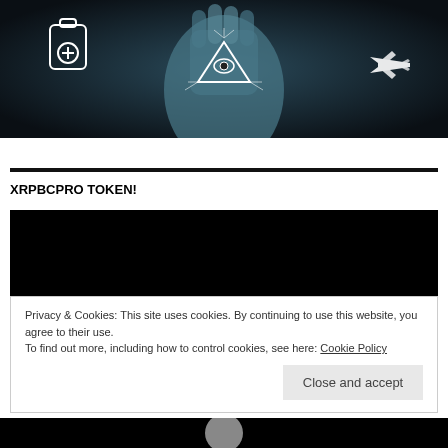[Figure (photo): Dark atmospheric image of a hand with an illuminati all-seeing eye pyramid symbol on the palm, with a poison bottle icon on the left and an airplane icon on the right, teal/blue-black color scheme]
XRPBCPRO TOKEN!
[Figure (screenshot): Black video embed block]
Privacy & Cookies: This site uses cookies. By continuing to use this website, you agree to their use.
To find out more, including how to control cookies, see here: Cookie Policy
Close and accept